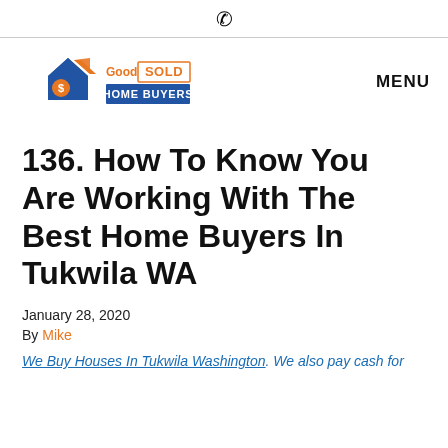📞
[Figure (logo): Good as SOLD Home Buyers logo with house icon]
MENU
136. How To Know You Are Working With The Best Home Buyers In Tukwila WA
January 28, 2020
By Mike
We Buy Houses In Tukwila Washington. We also pay cash for